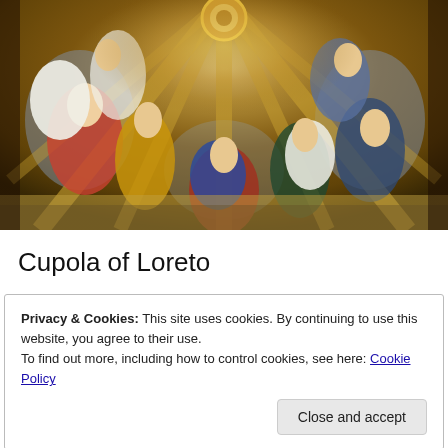[Figure (photo): Interior view of the Cupola of Loreto, showing ornate religious fresco/relief artwork with figures of saints and angels arranged around a domed ceiling with golden architectural details]
Cupola of Loreto
Privacy & Cookies: This site uses cookies. By continuing to use this website, you agree to their use.
To find out more, including how to control cookies, see here: Cookie Policy
Close and accept